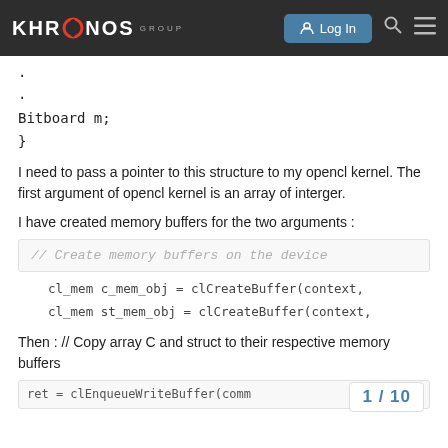[Figure (screenshot): Khronos Group forum website header with logo, Log In button, search and menu icons]
.
.
Bitboard m;
}
I need to pass a pointer to this structure to my opencl kernel. The first argument of opencl kernel is an array of interger.
I have created memory buffers for the two arguments :
// Create memory buffers on the device
cl_mem c_mem_obj = clCreateBuffer(context,
cl_mem st_mem_obj = clCreateBuffer(context,
Then : // Copy array C and struct to their respective memory buffers
ret = clEnqueueWriteBuffer(comm
1 / 10